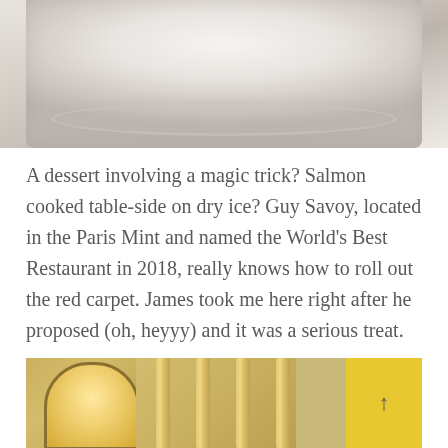[Figure (photo): Close-up photograph of a white ceramic plate or bowl rim against a light beige/cream background, showing elegant tableware detail]
A dessert involving a magic trick? Salmon cooked table-side on dry ice? Guy Savoy, located in the Paris Mint and named the World's Best Restaurant in 2018, really knows how to roll out the red carpet. James took me here right after he proposed (oh, heyyy) and it was a serious treat.
[Figure (photo): Bottom portion of a photo showing ornate classical architecture with arched windows, decorative columns, and a yellow panel with an upward arrow on the right side]